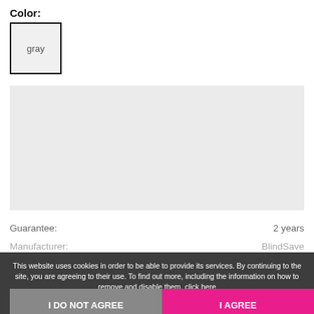Color:
gray
[Figure (other): Light gray rectangular product image placeholder]
Guarantee: 2 years
Manufacturer: BlindSave
This website uses cookies in order to be able to provide its services. By continuing to the site, you are agreeing to their use. To find out more, including the information on how to remove and disable them, click here
I DO NOT AGREE
I AGREE